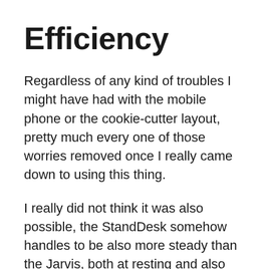Efficiency
Regardless of any kind of troubles I might have had with the mobile phone or the cookie-cutter layout, pretty much every one of those worries removed once I really came down to using this thing.
I really did not think it was also possible, the StandDesk somehow handles to be also more steady than the Jarvis, both at resting and also standing heights. The majority of days I like to run my Jarvis at max height while pressed versus my wall; not necessarily because it’s that unsteady, yet just because I desire as much stability as I